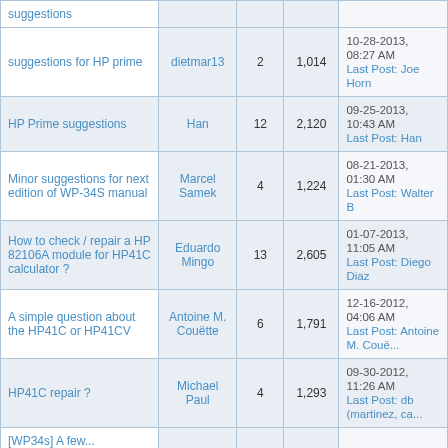| Thread Title | Author | Replies | Views | Last Post |
| --- | --- | --- | --- | --- |
| suggestions |  |  |  |  |
| suggestions for HP prime | dietmar13 | 2 | 1,014 | 10-28-2013, 08:27 AM
Last Post: Joe Horn |
| HP Prime suggestions | Han | 12 | 2,120 | 09-25-2013, 10:43 AM
Last Post: Han |
| Minor suggestions for next edition of WP-34S manual | Marcel Samek | 4 | 1,224 | 08-21-2013, 01:30 AM
Last Post: Walter B |
| How to check / repair a HP 82106A module for HP41C calculator ? | Eduardo Mingo | 13 | 2,605 | 01-07-2013, 11:05 AM
Last Post: Diego Diaz |
| A simple question about the HP41C or HP41CV | Antoine M. Couëtte | 6 | 1,791 | 12-16-2012, 04:06 AM
Last Post: Antoine M. Couë... |
| HP41C repair ? | Michael Paul | 4 | 1,293 | 09-30-2012, 11:26 AM
Last Post: db (martinez, ca... |
| [WP34s] A few... |  |  |  |  |